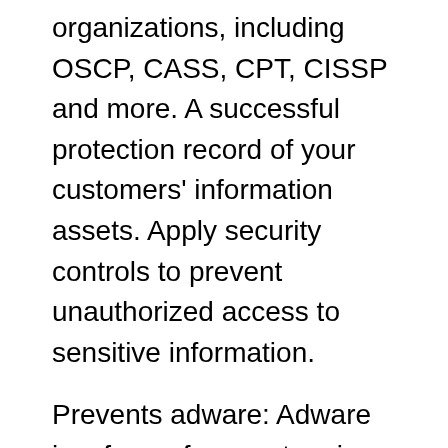organizations, including OSCP, CASS, CPT, CISSP and more. A successful protection record of your customers' information assets. Apply security controls to prevent unauthorized access to sensitive information.
Prevents adware: Adware is a form of computer virus that fills your computer with advertisements and is quite common. However, all of these ads can really affect productivity and often allow other viruses to enter your computer once you accidentally click on them. The 2FA acts as an additional layer of security to authenticate the logon attempt. Other devices even add a third level of authentication if your mobile device requires a combination of numbers or Face ID. If